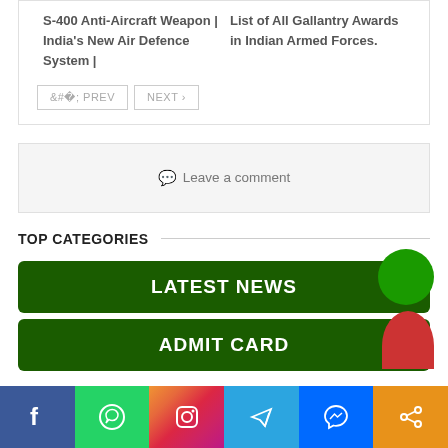S-400 Anti-Aircraft Weapon | India's New Air Defence System |
List of All Gallantry Awards in Indian Armed Forces.
< PREV
NEXT >
Leave a comment
TOP CATEGORIES
LATEST NEWS
ADMIT CARD